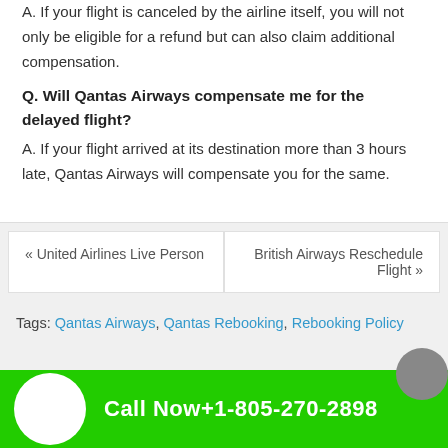A. If your flight is canceled by the airline itself, you will not only be eligible for a refund but can also claim additional compensation.
Q. Will Qantas Airways compensate me for the delayed flight?
A. If your flight arrived at its destination more than 3 hours late, Qantas Airways will compensate you for the same.
« United Airlines Live Person
British Airways Reschedule Flight »
Tags: Qantas Airways, Qantas Rebooking, Rebooking Policy
Call Now+1-805-270-2898